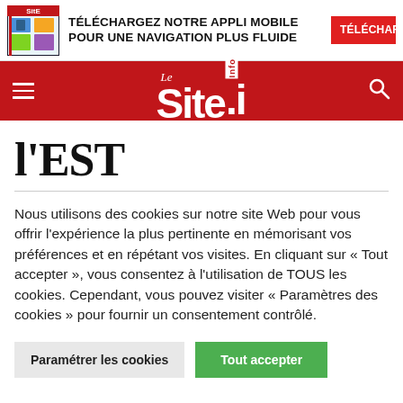[Figure (screenshot): Ad banner with magazine cover image, text 'TÉLÉCHARGEZ NOTRE APPLI MOBILE POUR UNE NAVIGATION PLUS FLUIDE' and red 'TÉLÉCHARGER' button]
[Figure (logo): Le Site Info logo on red navigation bar with hamburger menu and search icon]
l'EST
Nous utilisons des cookies sur notre site Web pour vous offrir l'expérience la plus pertinente en mémorisant vos préférences et en répétant vos visites. En cliquant sur « Tout accepter », vous consentez à l'utilisation de TOUS les cookies. Cependant, vous pouvez visiter « Paramètres des cookies » pour fournir un consentement contrôlé.
Paramétrer les cookies | Tout accepter